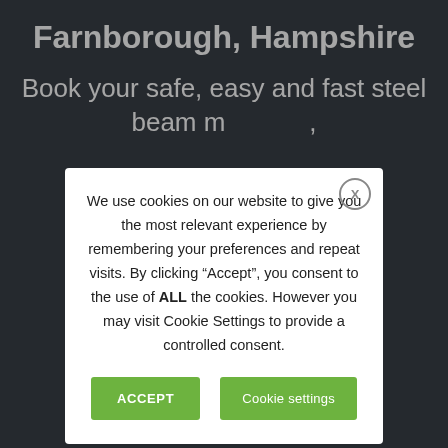Farnborough, Hampshire
Book your safe, easy and fast steel beam m[...],
We use cookies on our website to give you the most relevant experience by remembering your preferences and repeat visits. By clicking “Accept”, you consent to the use of ALL the cookies. However you may visit Cookie Settings to provide a controlled consent.
ACCEPT
Cookie settings